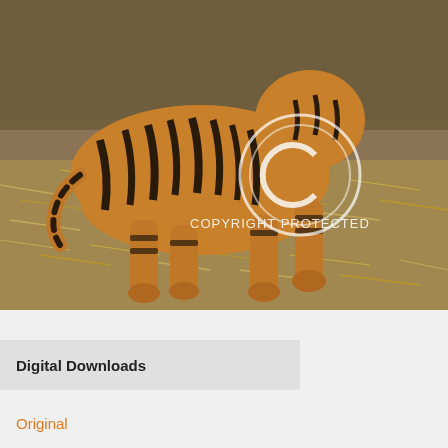[Figure (photo): A Bengal tiger walking through dry scrubland with dried grass and sparse trees in the background. The tiger is viewed from the side, looking back toward the camera. A copyright watermark circle and text 'COPYRIGHT PROTECTED' is overlaid on the image.]
Digital Downloads
Original